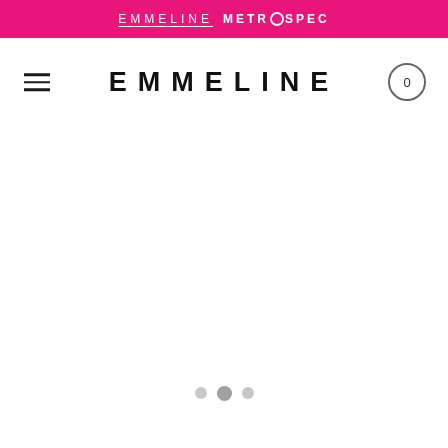EMMELINE METROSPEC
EMMELINE
[Figure (screenshot): Navigation bar with hamburger menu icon on left, EMMELINE logo in center, cart button showing 0 on right]
[Figure (other): Three carousel indicator dots in the lower center of the page]